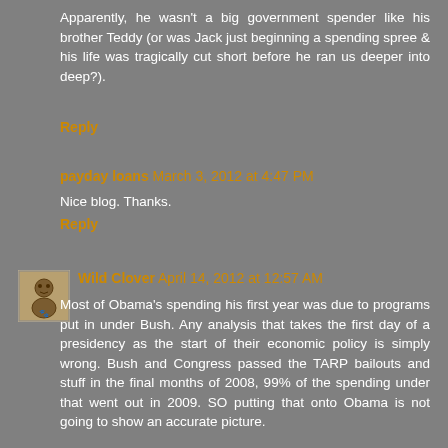Apparently, he wasn't a big government spender like his brother Teddy (or was Jack just beginning a spending spree & his life was tragically cut short before he ran us deeper into deep?).
Reply
payday loans March 3, 2012 at 4:47 PM
Nice blog. Thanks.
Reply
[Figure (illustration): User avatar icon for Wild Clover - small square icon with a decorative figure]
Wild Clover April 14, 2012 at 12:57 AM
Most of Obama's spending his first year was due to programs put in under Bush. Any analysis that takes the first day of a presidency as the start of their economic policy is simply wrong. Bush and Congress passed the TARP bailouts and stuff in the final months of 2008, 99% of the spending under that went out in 2009. SO putting that onto Obama is not going to show an accurate picture.